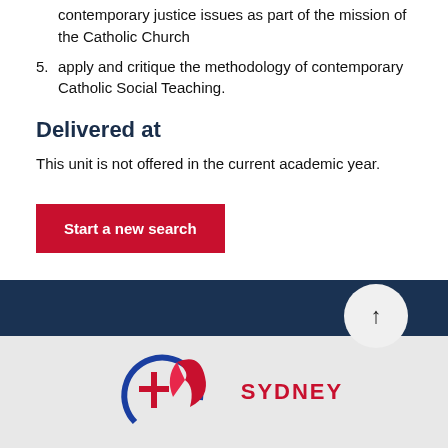contemporary justice issues as part of the mission of the Catholic Church
apply and critique the methodology of contemporary Catholic Social Teaching.
Delivered at
This unit is not offered in the current academic year.
[Figure (other): Red button labeled 'Start a new search']
[Figure (logo): Sydney Catholic Schools logo with cross and leaf motif, text reads SYDNEY]